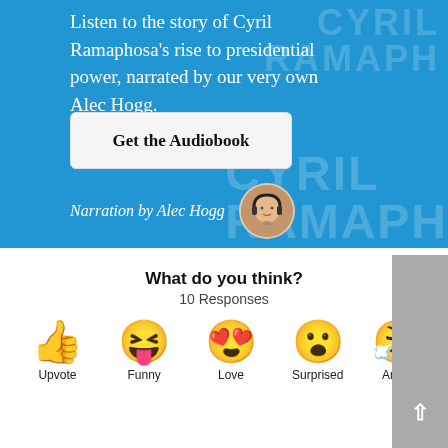[Figure (illustration): Blue banner with text about Cyril Ramaphosa audiobook narrated by Alec Hogg, a Get the Audiobook button, narration credit, and a circular avatar photo of Alec Hogg with microphone. Background has watermark text 'CYRIL RAMAPH...']
Listen to the story of Cyril Ramaphosa's rise to presidential power, narrated by our very own Alec Hogg.
Get the Audiobook
Narration by Alec Hogg
What do you think?
10 Responses
Upvote
Funny
Love
Surprised
Angry